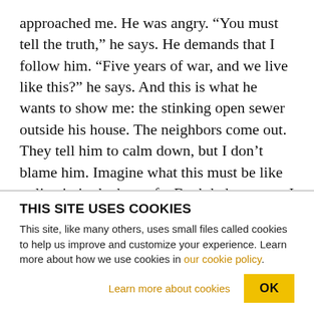approached me. He was angry. “You must tell the truth,” he says. He demands that I follow him. “Five years of war, and we live like this?” he says. And this is what he wants to show me: the stinking open sewer outside his house. The neighbors come out. They tell him to calm down, but I don’t blame him. Imagine what this must be like to live in in the heat of a Baghdad summer. I reassured him that this is why we were here, to hear his story. “Tell the world,” he tells me. “I want the world to see how we live here.” She came up to us suddenly out of nowhere,
THIS SITE USES COOKIES
This site, like many others, uses small files called cookies to help us improve and customize your experience. Learn more about how we use cookies in our cookie policy.
Learn more about cookies